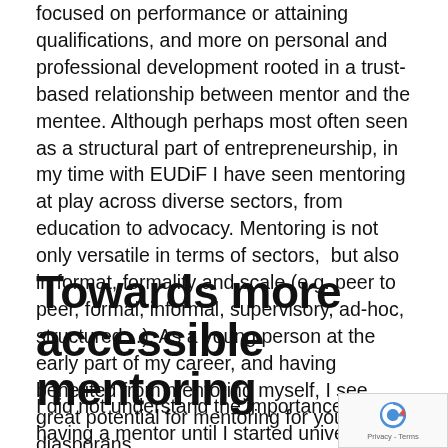focused on performance or attaining qualifications, and more on personal and professional development rooted in a trust-based relationship between mentor and the mentee. Although perhaps most often seen as a structural part of entrepreneurship, in my time with EUDiF I have seen mentoring at play across diverse sectors, from education to advocacy. Mentoring is not only versatile in terms of sectors, but also in format, formality and scale (e.g. peer to peer, formal, informal, supervisory, ad-hoc, structured…). As a young person at the early part of my career, and having benefited from mentoring myself, I see great potential for mentoring for young diasporans.
Towards more accessible mentoring
I did not understand the importance of having a me… until I started university. Through a programme organised